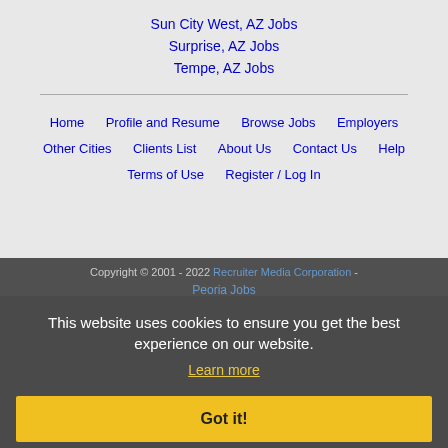Sun City West, AZ Jobs
Surprise, AZ Jobs
Tempe, AZ Jobs
Home | Profile and Resume | Browse Jobs | Employers | Other Cities | Clients List | About Us | Contact Us | Help | Terms of Use | Register / Log In
Copyright © 2001 - 2022 Recruiter Media Corporation - Peoria Jobs
This website uses cookies to ensure you get the best experience on our website.
Learn more
Got it!